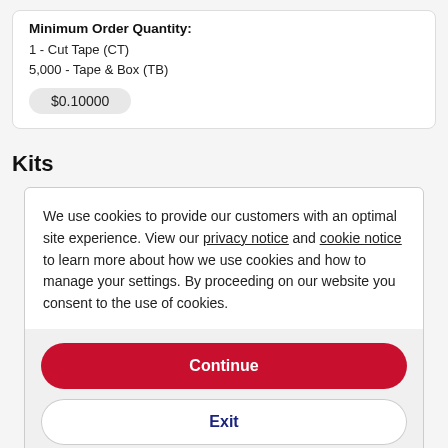Minimum Order Quantity:
1 - Cut Tape (CT)
5,000 - Tape & Box (TB)
$0.10000
Kits
We use cookies to provide our customers with an optimal site experience. View our privacy notice and cookie notice to learn more about how we use cookies and how to manage your settings. By proceeding on our website you consent to the use of cookies.
Continue
Exit
Privacy Notice
RESISTOR KIT 1/4W 300P CS